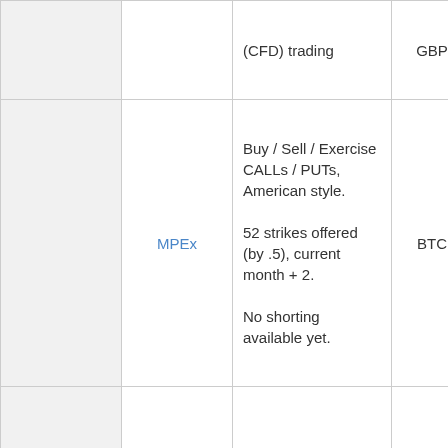|  |  | (CFD) trading | GBP |  |
|  | MPEx | Buy / Sell / Exercise CALLs / PUTs, American style. 52 strikes offered (by .5), current month + 2. No shorting available yet. | BTC | BTC |
|  |  |  | BTC, | BTC, NMC, |